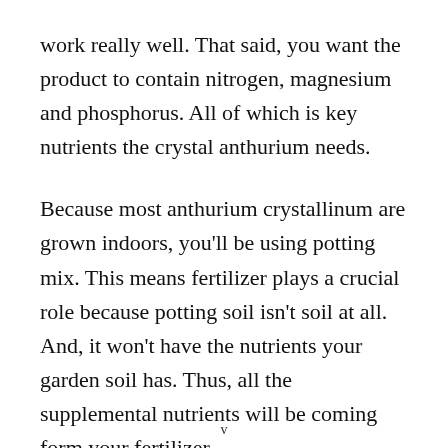work really well. That said, you want the product to contain nitrogen, magnesium and phosphorus. All of which is key nutrients the crystal anthurium needs.
Because most anthurium crystallinum are grown indoors, you'll be using potting mix. This means fertilizer plays a crucial role because potting soil isn't soil at all. And, it won't have the nutrients your garden soil has. Thus, all the supplemental nutrients will be coming form your fertilizer.
v